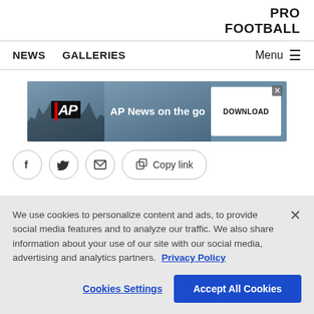PRO
FOOTBALL
NEWS   GALLERIES   Menu
[Figure (screenshot): AP News advertisement banner showing 'AP News on the go' with a DOWNLOAD button and silhouette figures against a blue-grey sky background]
social sharing buttons: Facebook, Twitter, Email, Copy link
We use cookies to personalize content and ads, to provide social media features and to analyze our traffic. We also share information about your use of our site with our social media, advertising and analytics partners. Privacy Policy
Cookies Settings   Accept All Cookies